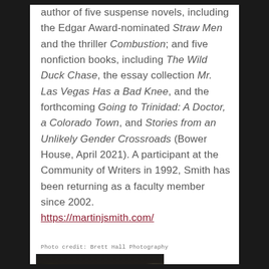author of five suspense novels, including the Edgar Award-nominated Straw Men and the thriller Combustion; and five nonfiction books, including The Wild Duck Chase, the essay collection Mr. Las Vegas Has a Bad Knee, and the forthcoming Going to Trinidad: A Doctor, a Colorado Town, and Stories from an Unlikely Gender Crossroads (Bower House, April 2021). A participant at the Community of Writers in 1992, Smith has been returning as a faculty member since 2002. https://martinjsmith.com/
Photo credit: Brett Hall Photography
[Figure (photo): Black and white headshot photograph of a woman with dark hair, facing the camera]